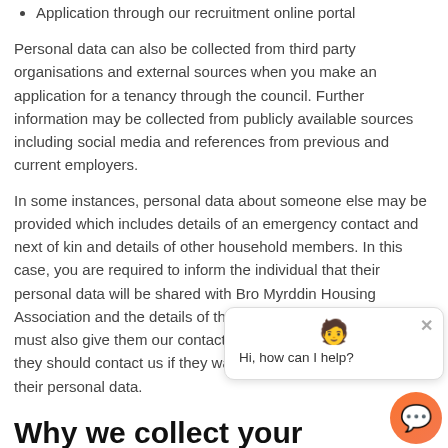Application through our recruitment online portal
Personal data can also be collected from third party organisations and external sources when you make an application for a tenancy through the council. Further information may be collected from publicly available sources including social media and references from previous and current employers.
In some instances, personal data about someone else may be provided which includes details of an emergency contact and next of kin and details of other household members. In this case, you are required to inform the individual that their personal data will be shared with Bro Myrddin Housing Association and the details of the personal data shared. You must also give them our contact details and let them know that they should contact us if they want to know how we will use their personal data.
Why we collect your personal data